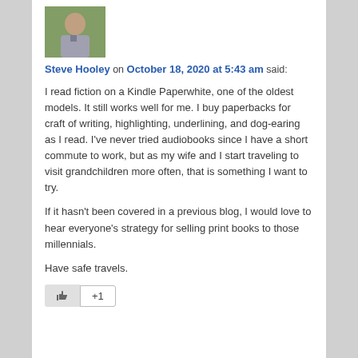[Figure (photo): Profile photo of Steve Hooley, a man in a grey shirt outdoors]
Steve Hooley on October 18, 2020 at 5:43 am said:
I read fiction on a Kindle Paperwhite, one of the oldest models. It still works well for me. I buy paperbacks for craft of writing, highlighting, underlining, and dog-earing as I read. I've never tried audiobooks since I have a short commute to work, but as my wife and I start traveling to visit grandchildren more often, that is something I want to try.
If it hasn't been covered in a previous blog, I would love to hear everyone's strategy for selling print books to those millennials.
Have safe travels.